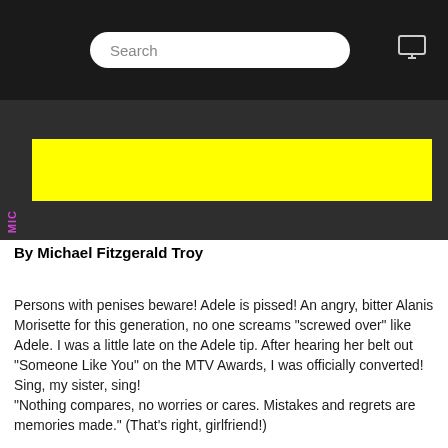Search
[Figure (screenshot): Dark banner area with yellow rectangle placeholder and MIC label on left side]
By Michael Fitzgerald Troy
Persons with penises beware! Adele is pissed! An angry, bitter Alanis Morisette for this generation, no one screams "screwed over" like Adele. I was a little late on the Adele tip. After hearing her belt out "Someone Like You" on the MTV Awards, I was officially converted! Sing, my sister, sing!
"Nothing compares, no worries or cares. Mistakes and regrets are memories made." (That's right, girlfriend!)
Comments:DISQUS_COMMENTS
Read more...
Go to top